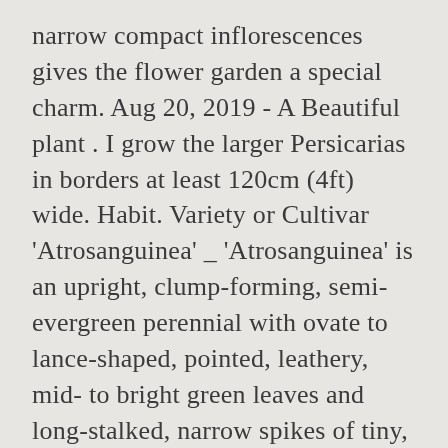narrow compact inflorescences gives the flower garden a special charm. Aug 20, 2019 - A Beautiful plant . I grow the larger Persicarias in borders at least 120cm (4ft) wide. Habit. Variety or Cultivar 'Atrosanguinea' _ 'Atrosanguinea' is an upright, clump-forming, semi-evergreen perennial with ovate to lance-shaped, pointed, leathery, mid- to bright green leaves and long-stalked, narrow spikes of tiny, narrowly bell-shaped, red to reddish-pink flowers from midsummer into autumn. enthusiastic as some varieties and lovely in mixed borders. lub Anuluj, Otrzymuj informację o nowościach i wyprzedażach. has taken several years to develop plump, thick, bottlebrush-like flowers